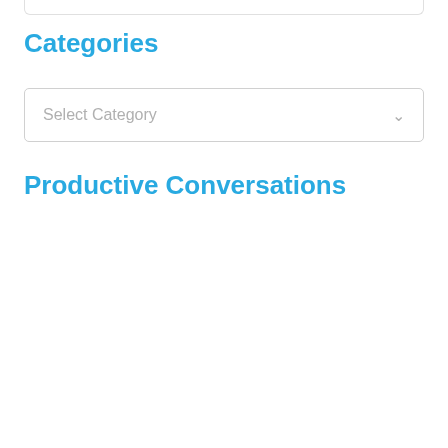Categories
[Figure (screenshot): A dropdown select box with placeholder text 'Select Category' and a chevron/arrow icon on the right]
Productive Conversations